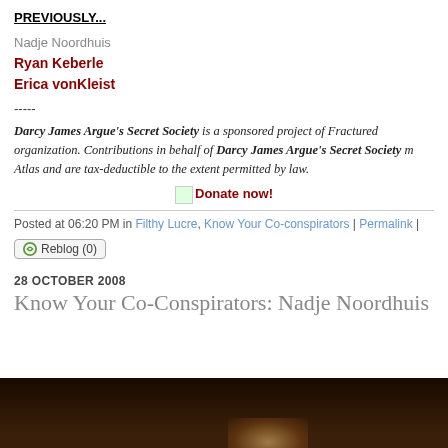PREVIOUSLY...
Nadje Noordhuis
Ryan Keberle
Erica vonKleist
-----
Darcy James Argue's Secret Society is a sponsored project of Fractured Atlas, a non-profit arts service organization. Contributions in behalf of Darcy James Argue's Secret Society may be made payable to Fractured Atlas and are tax-deductible to the extent permitted by law.
[Figure (other): Donate now! button/link with small icon]
Posted at 06:20 PM in Filthy Lucre, Know Your Co-conspirators | Permalink |
Reblog (0)
28 OCTOBER 2008
Know Your Co-Conspirators: Nadje Noordhuis
[Figure (photo): Dark photo of a person, partially visible blonde hair at bottom]